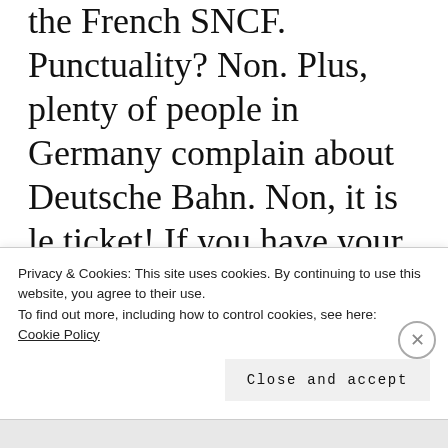the French SNCF. Punctuality? Non. Plus, plenty of people in Germany complain about Deutsche Bahn. Non, it is le ticket! If you have your German train ticket, your platform is printed on it, and usually c'est vrai! Meanwhile, in a French gare you have to go stare at some information screens to find out where you
Privacy & Cookies: This site uses cookies. By continuing to use this website, you agree to their use.
To find out more, including how to control cookies, see here:
Cookie Policy
Close and accept